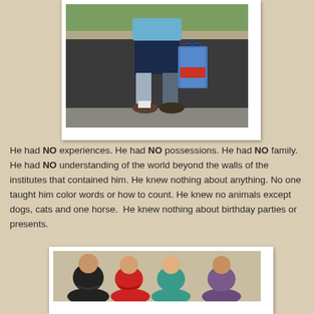[Figure (photo): A child standing on a driveway/sidewalk holding a colorful bag, wearing dark shorts, blue knee brace, and sandals. Green grass and curb visible in background.]
He had NO experiences. He had NO possessions. He had NO family. He had NO understanding of the world beyond the walls of the institutes that contained him. He knew nothing about anything. No one taught him color words or how to count. He knew no animals except dogs, cats and one horse.  He knew nothing about birthday parties or presents.
[Figure (photo): Group of children sitting together, appears to be a classroom or group setting. Children of various ages visible.]